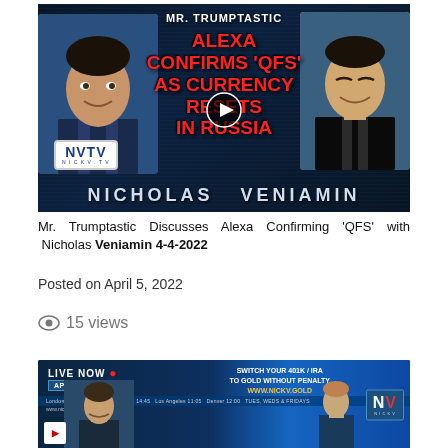[Figure (screenshot): Video thumbnail for 'Mr. Trumptastic Discusses Alexa Confirming QFS with Nicholas Veniamin 4-4-2022'. Shows two men (one Hispanic-looking, one Asian-looking) flanking red bold text: ALEXA CONFIRMS QFS AS CURRENCY RESETS IN RUSSIA, with MR. TRUMPTASTIC at top in white, NVTV NICKV.TV logo on lower left, NICHOLAS VENIAMIN at bottom, and a play button in the center.]
Mr. Trumptastic Discusses Alexa Confirming 'QFS' with Nicholas Veniamin 4-4-2022
Posted on April 5, 2022
15 views
[Figure (screenshot): Second video thumbnail showing a live broadcast. Text: LIVE NOW with red dot, APRIL 4, 2022 badge, MAHONEY LIVE at bottom left, SWITCH YOUR 401K / IRA TO GOLD WITHOUT PENALTY, WWW.NICKV.GOLD on the right, NV TV NICKV logo at far right, blue broadcast studio background.]